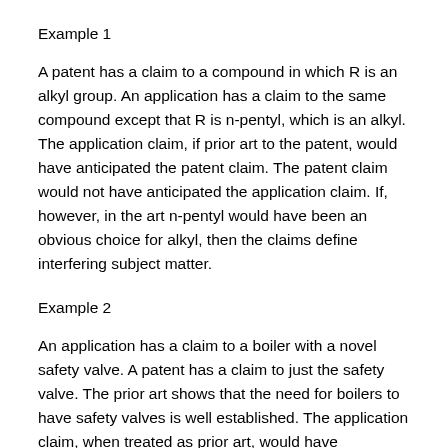Example 1
A patent has a claim to a compound in which R is an alkyl group. An application has a claim to the same compound except that R is n-pentyl, which is an alkyl. The application claim, if prior art to the patent, would have anticipated the patent claim. The patent claim would not have anticipated the application claim. If, however, in the art n-pentyl would have been an obvious choice for alkyl, then the claims define interfering subject matter.
Example 2
An application has a claim to a boiler with a novel safety valve. A patent has a claim to just the safety valve. The prior art shows that the need for boilers to have safety valves is well established. The application claim, when treated as prior art, would have anticipated the patent claim. The patent claim, when treated as prior art and in light of the boiler prior art, can be shown to render the